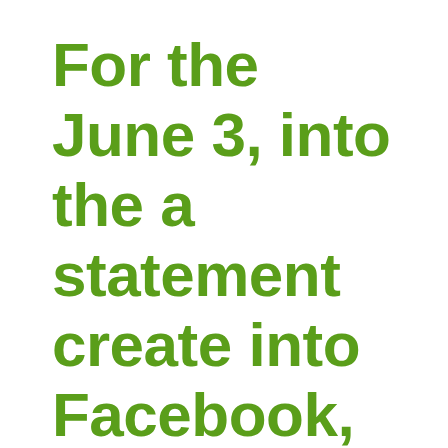For the June 3, into the a statement create into Facebook, Debbie Wasserman Schultz fli…